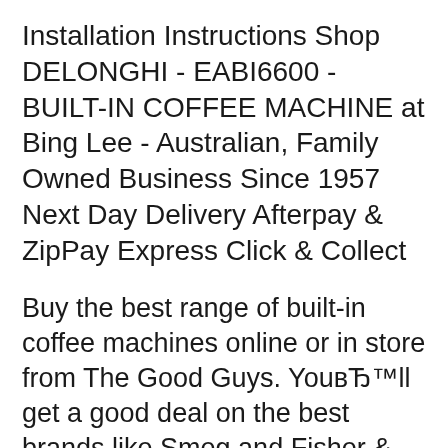Installation Instructions Shop DELONGHI - EABI6600 - BUILT-IN COFFEE MACHINE at Bing Lee - Australian, Family Owned Business Since 1957 Next Day Delivery Afterpay & ZipPay Express Click & Collect
Buy the best range of built-in coffee machines online or in store from The Good Guys. YouвЂ™ll get a good deal on the best brands like Smeg and Fisher & Paykel that will make creating cafГ© quality lattes and cappuccinos at home really easy. View and Download Miele Built-in coffee machine operating and installation instructions online. Built-in coffee machine. Built-in coffee machine Coffee Maker pdf manual вЂ